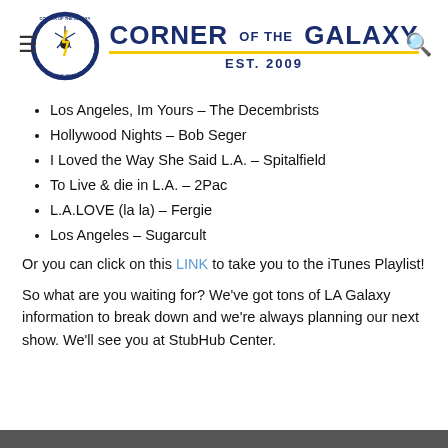Corner of the Galaxy — Est. 2009
Los Angeles, Im Yours – The Decembrists
Hollywood Nights – Bob Seger
I Loved the Way She Said L.A. – Spitalfield
To Live & die in L.A. – 2Pac
L.A.LOVE (la la) – Fergie
Los Angeles – Sugarcult
Or you can click on this LINK to take you to the iTunes Playlist!
So what are you waiting for? We've got tons of LA Galaxy information to break down and we're always planning our next show. We'll see you at StubHub Center.